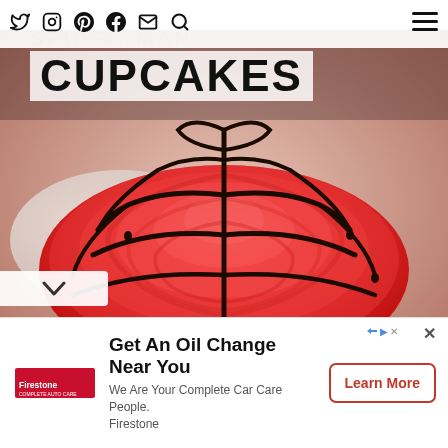Twitter Instagram Pinterest Facebook Email Search | Menu
SPIDER-MAN CUPCAKES
[Figure (photo): Close-up photo of a Spider-Man themed cupcake with red frosting swirled in a dome shape and black chocolate ganache drizzled in a spider-web pattern on top, sitting on a blue cupcake liner]
Get An Oil Change Near You
We Are Your Complete Car Care People.
Firestone
Learn More